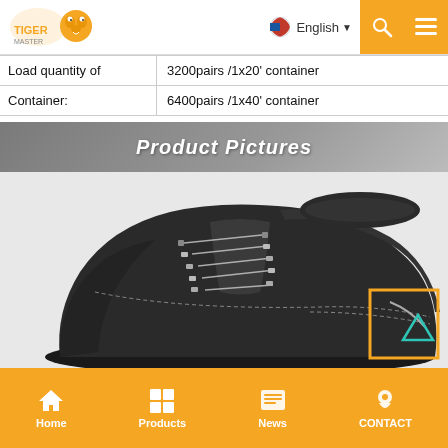Tiger Master | English
| Load quantity of Container: | 3200pairs /1x20' container
6400pairs /1x40' container |
Product Pictures
[Figure (photo): Close-up photo of a black leather safety boot with laces and grey stitching detail, on a light background. An orange-bordered square with a teal triangle icon is overlaid at bottom-right of the shoe.]
Home | Products | News | CONTACT